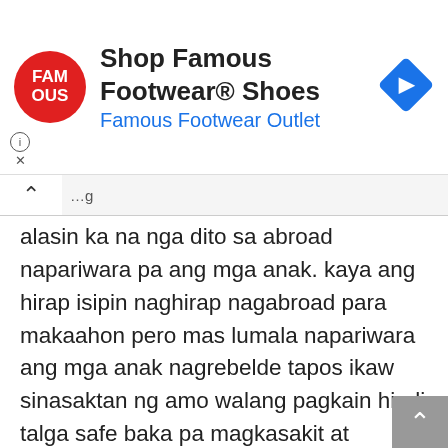[Figure (screenshot): Advertisement banner for Famous Footwear showing red circular logo with FAM OUS text, headline 'Shop Famous Footwear® Shoes', subheading 'Famous Footwear Outlet', and a blue diamond navigation icon on the right.]
...alasin ka na nga dito sa abroad napariwara pa ang mga anak. kaya ang hirap isipin naghirap nagabroad para makaahon pero mas lumala napariwara ang mga anak nagrebelde tapos ikaw sinasaktan ng amo walang pagkain hindi talga safe baka pa magkasakit at mamatay dito sa abroad e. kaya sana meron din housing para sa ofw para nmn makauwi na kami dito nalng kami lagi sa abroad anong saysay ang buhay namin napabayaan ang mga anak at walaa nmn yumayaman sa abroad 10 years na ako abroad ni duling wala ako maipon┤kaya mas maigi pa uuwi pero wala pa bahay.